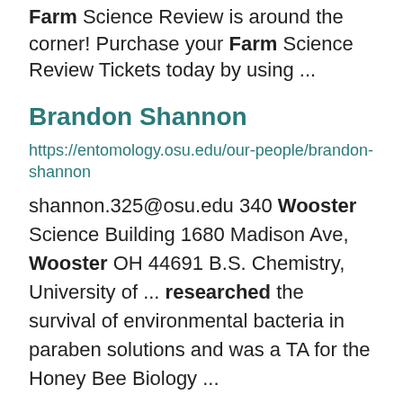Farm Science Review is around the corner! Purchase your Farm Science Review Tickets today by using ...
Brandon Shannon
https://entomology.osu.edu/our-people/brandon-shannon
shannon.325@osu.edu 340 Wooster Science Building 1680 Madison Ave, Wooster OH 44691 B.S. Chemistry, University of ... researched the survival of environmental bacteria in paraben solutions and was a TA for the Honey Bee Biology ...